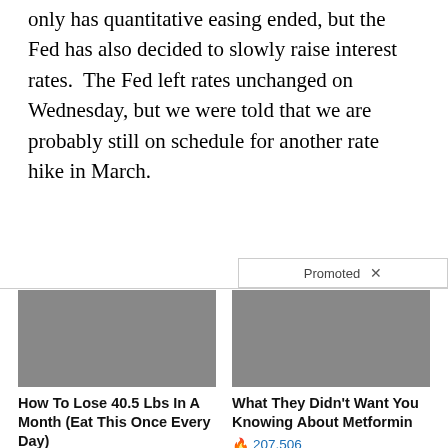only has quantitative easing ended, but the Fed has also decided to slowly raise interest rates. The Fed left rates unchanged on Wednesday, but we were told that we are probably still on schedule for another rate hike in March.
[Figure (other): Promoted content label bar with X close button]
[Figure (photo): Advertisement card showing before/after weight loss photos of a woman in black swimwear, with title 'How To Lose 40.5 Lbs In A Month (Eat This Once Every Day)' and engagement count 72,042]
[Figure (photo): Advertisement card showing a medical/anatomical image of what appears to be a pancreas or organ, with title 'What They Didn't Want You Knowing About Metformin' and engagement count 207,506]